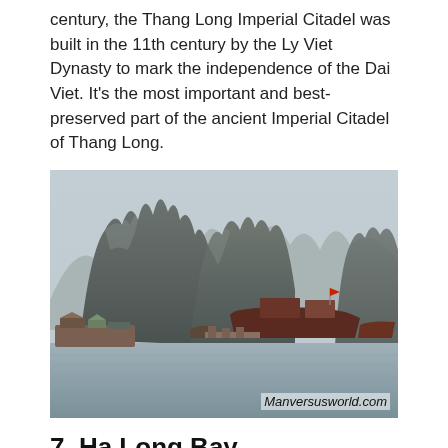century, the Thang Long Imperial Citadel was built in the 11th century by the Ly Viet Dynasty to mark the independence of the Dai Viet. It's the most important and best-preserved part of the ancient Imperial Citadel of Thang Long.
[Figure (photo): Photograph of Ha Long Bay showing limestone karst mountains rising from calm grey water, with a floating village and traditional boats in the foreground. Watermark reads 'Manversusworld.com'.]
7. Ha Long Bay